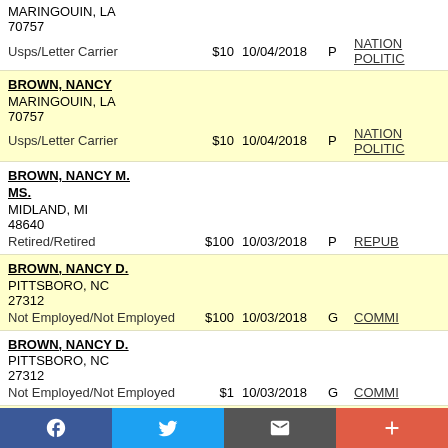MARINGOUIN, LA 70757 | Usps/Letter Carrier | $10 | 10/04/2018 | P | NATIONAL POLITICAL
BROWN, NANCY | MARINGOUIN, LA 70757 | Usps/Letter Carrier | $10 | 10/04/2018 | P | NATIONAL POLITICAL
BROWN, NANCY M. MS. | MIDLAND, MI 48640 | Retired/Retired | $100 | 10/03/2018 | P | REPUB
BROWN, NANCY D. | PITTSBORO, NC 27312 | Not Employed/Not Employed | $100 | 10/03/2018 | G | COMMI
BROWN, NANCY D. | PITTSBORO, NC 27312 | Not Employed/Not Employed | $1 | 10/03/2018 | G | COMMI
BROWN, NANCY | BELVIDERE, NJ 07823 | Retired/Retired | $25 | 10/02/2018 | P | NEW JERSEY Republican
BROWN, NANCY HEATHER | URBANDALE, IA 50322 | Not Employed/Unemployed | $100 | 09/30/2018 | P | DCCC -
BROWN, NANCY | HILLSBORO, OR